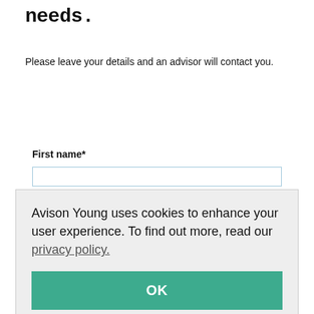needs.
Please leave your details and an advisor will contact you.
First name*
Avison Young uses cookies to enhance your user experience. To find out more, read our privacy policy.
OK
Phone number